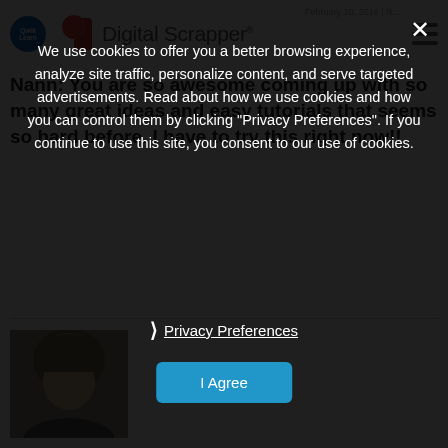Digital Scrapper | February 10, 2016
Nann: You are so awesome coming up with so many great ideas and easy tutorials that seems so hard before. I have to try this right now!!
[Figure (photo): User avatar photo showing a person with short hair]
We use cookies to offer you a better browsing experience, analyze site traffic, personalize content, and serve targeted advertisements. Read about how we use cookies and how you can control them by clicking "Privacy Preferences". If you continue to use this site, you consent to our use of cookies.
Privacy Preferences
I Agree